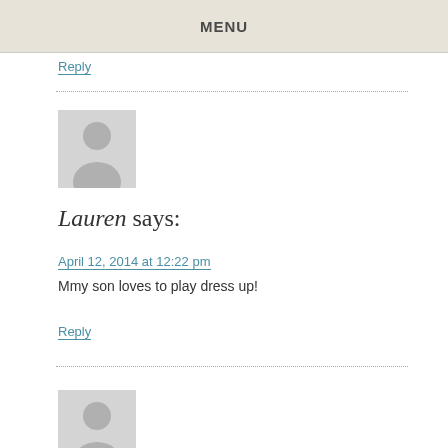MENU
Reply
[Figure (illustration): Default gray avatar icon with silhouette of a person]
Lauren says:
April 12, 2014 at 12:22 pm
Mmy son loves to play dress up!
Reply
[Figure (illustration): Default gray avatar icon with silhouette of a person (partially visible)]